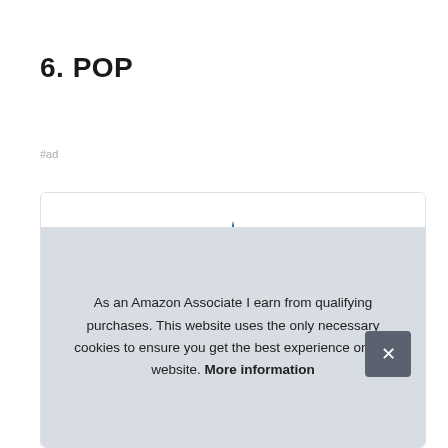6. POP
#ad
[Figure (photo): Product image showing a blue and yellow toy/figure (unicorn or similar) partially visible behind a cookie consent banner overlay]
As an Amazon Associate I earn from qualifying purchases. This website uses the only necessary cookies to ensure you get the best experience on our website. More information